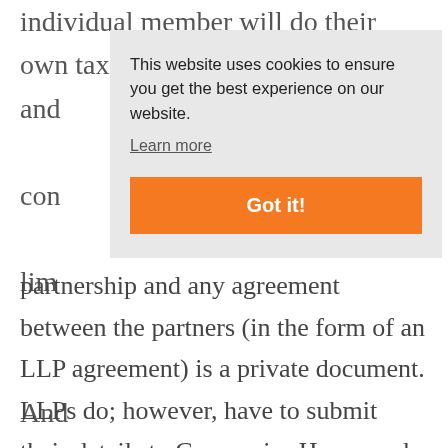individual member will do their own tax return and ... con ... lim ...
[Figure (screenshot): Cookie consent overlay popup with message 'This website uses cookies to ensure you get the best experience on our website.' and a 'Learn more' link and an orange 'Got it!' button]
And ... org ... partnership and any agreement between the partners (in the form of an LLP agreement) is a private document. LLPs do; however, have to submit their details to Companies House and